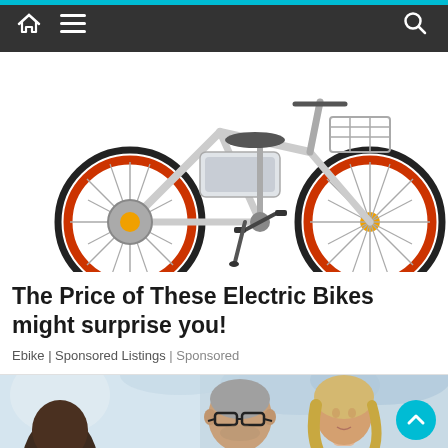Navigation bar with home, menu, and search icons
[Figure (photo): Photo of an electric bicycle, white frame with orange/red wheel rims, shown from the side on a white background. The bike has a battery pack mounted on the frame and a hub motor on the rear wheel.]
The Price of These Electric Bikes might surprise you!
Ebike | Sponsored Listings | Sponsored
[Figure (photo): Photo of three people in a meeting or consultation setting. A middle-aged man with glasses and gray hair in a gray sweater is in the center, with a woman with blonde hair to his right and the back of another person's head in the foreground left. The background is light blue/blurred.]